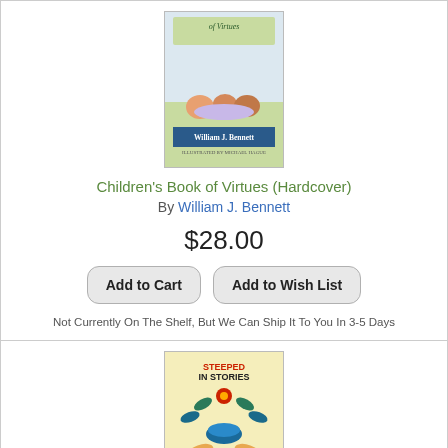[Figure (illustration): Book cover of Children's Book of Virtues, partial view showing children and William J. Bennett author name]
Children's Book of Virtues (Hardcover)
By William J. Bennett
$28.00
Add to Cart
Add to Wish List
Not Currently On The Shelf, But We Can Ship It To You In 3-5 Days
[Figure (illustration): Book cover of Steeped in Stories by Mitali Perkins, colorful folk art design with flowers and vases on light yellow background]
Steeped in Stories: Timeless Children's Novels to Refresh Our Tired Souls (Hardcover)